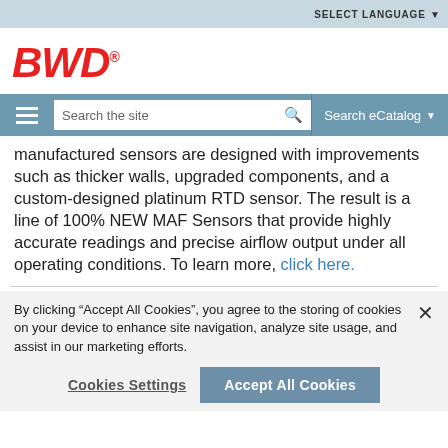SELECT LANGUAGE
[Figure (logo): BWD logo in red italic bold text with registered trademark symbol]
[Figure (screenshot): Navigation bar with hamburger menu, search box 'Search the site', and 'Search eCatalog' button]
manufactured sensors are designed with improvements such as thicker walls, upgraded components, and a custom-designed platinum RTD sensor. The result is a line of 100% NEW MAF Sensors that provide highly accurate readings and precise airflow output under all operating conditions. To learn more, click here.
By clicking “Accept All Cookies”, you agree to the storing of cookies on your device to enhance site navigation, analyze site usage, and assist in our marketing efforts.
Cookies Settings
Accept All Cookies